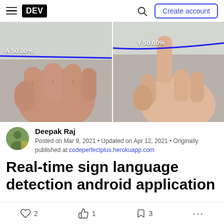DEV — Create account
[Figure (photo): Two side-by-side photos of hands making sign language gestures. Left photo shows a closed fist labeled 'A 50.00%' with a blue line overlay. Right photo shows a hand with index finger pointing up labeled 'Y 50.00%' with a blue line overlay.]
Deepak Raj
Posted on Mar 9, 2021 • Updated on Apr 12, 2021 • Originally published at codeperfectplus.herokuapp.com
Real-time sign language detection android application
2  1  3  ...